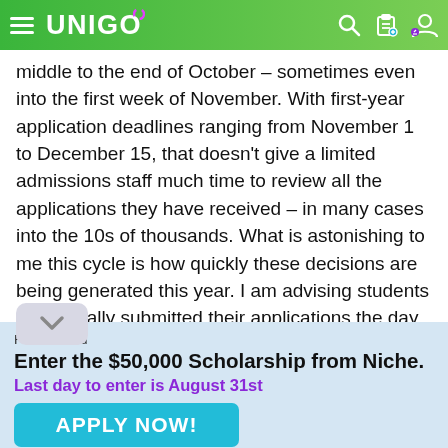UNIGO
middle to the end of October – sometimes even into the first week of November. With first-year application deadlines ranging from November 1 to December 15, that doesn't give a limited admissions staff much time to review all the applications they have received – in many cases into the 10s of thousands. What is astonishing to me this cycle is how quickly these decisions are being generated this year. I am advising students who literally submitted their applications the day before (or the day of) the deadline this fall and who received their decisions
Featured Ad
Enter the $50,000 Scholarship from Niche.
Last day to enter is August 31st
APPLY NOW!